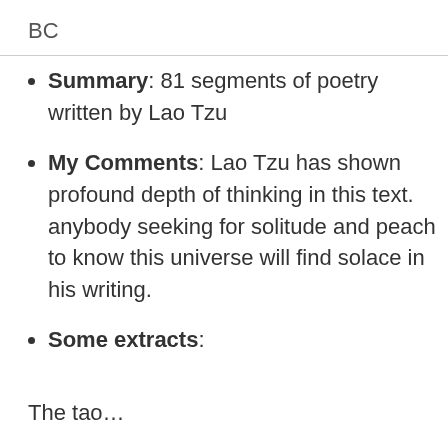BC
Summary: 81 segments of poetry written by Lao Tzu
My Comments: Lao Tzu has shown profound depth of thinking in this text. anybody seeking for solitude and peach to know this universe will find solace in his writing.
Some extracts:
The tao…